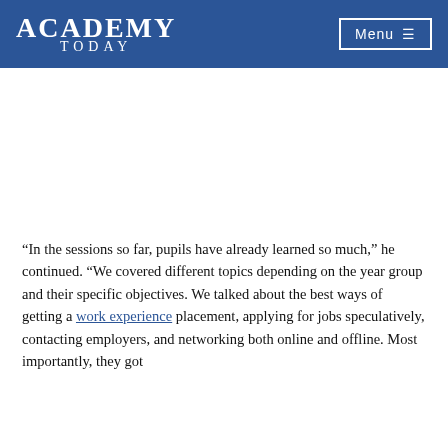Academy Today | Menu
“In the sessions so far, pupils have already learned so much,” he continued. “We covered different topics depending on the year group and their specific objectives. We talked about the best ways of getting a work experience placement, applying for jobs speculatively, contacting employers, and networking both online and offline. Most importantly, they got